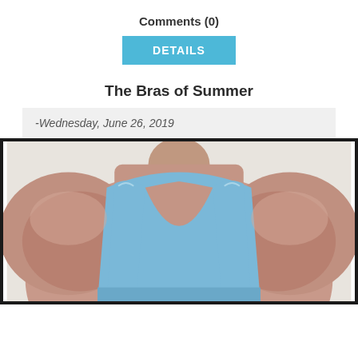Comments (0)
DETAILS
The Bras of Summer
-Wednesday, June 26, 2019
[Figure (photo): Back view of a person wearing a light blue racerback tank top/bra, viewed from behind, with bare shoulders visible on either side.]